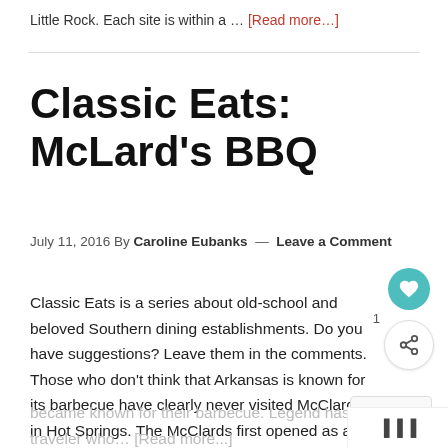Little Rock. Each site is within a … [Read more...]
Classic Eats: McLard's BBQ
July 11, 2016 By Caroline Eubanks — Leave a Comment
Classic Eats is a series about old-school and beloved Southern dining establishments. Do you have suggestions? Leave them in the comments. Those who don't think that Arkansas is known for its barbecue have clearly never visited McClard's in Hot Springs. The McClards first opened as a diner in 1928 but soon became known for their barbecue. Legend has it tha... traveler who... [Read more...]